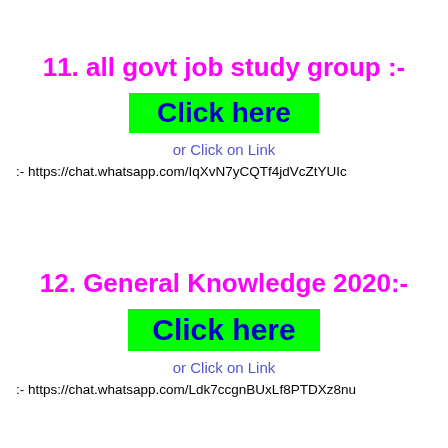11. all govt job study group :-
Click here
or Click on Link
:- https://chat.whatsapp.com/IqXvN7yCQTf4jdVcZtYUIc
12. General Knowledge 2020:-
Click here
or Click on Link
:- https://chat.whatsapp.com/Ldk7ccgnBUxLf8PTDXz8nu